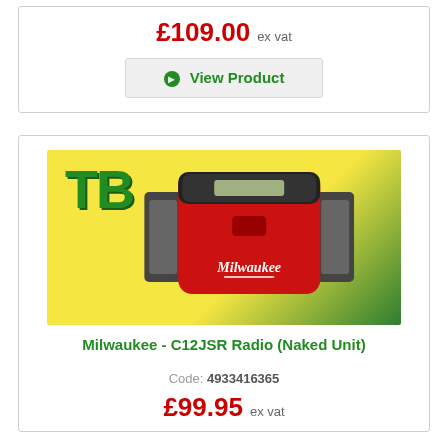£109.00 ex vat
View Product
[Figure (photo): Milwaukee C12JSR job site radio with red body, black speaker grilles on left and right, and a display on top. Background is yellow and green with a 'TB' logo in green.]
Milwaukee - C12JSR Radio (Naked Unit)
Code: 4933416365
£99.95 ex vat